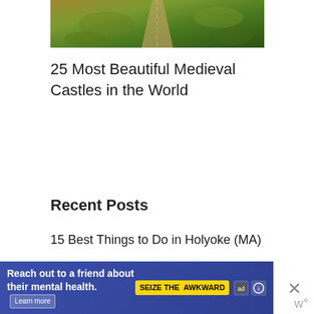[Figure (photo): Aerial photo of a road through autumn-colored landscape, partially cropped at top]
25 Most Beautiful Medieval Castles in the World
Recent Posts
15 Best Things to Do in Holyoke (MA)
15 Best Things to Do in Andover (MA)
[Figure (screenshot): Ad banner: 'Reach out to a friend about their mental health. Learn more' with SEIZE THE AWKWARD badge and ad icons, with close button]